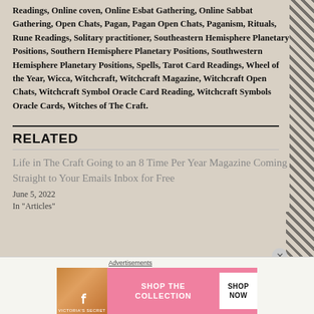Readings, Online coven, Online Esbat Gathering, Online Sabbat Gathering, Open Chats, Pagan, Pagan Open Chats, Paganism, Rituals, Rune Readings, Solitary practitioner, Southeastern Hemisphere Planetary Positions, Southern Hemisphere Planetary Positions, Southwestern Hemisphere Planetary Positions, Spells, Tarot Card Readings, Wheel of the Year, Wicca, Witchcraft, Witchcraft Magazine, Witchcraft Open Chats, Witchcraft Symbol Oracle Card Reading, Witchcraft Symbols Oracle Cards, Witches of The Craft.
RELATED
Life in The Craft Going to an 8 Time Per Year Magazine Coming Straight to Your Emails Inbox for Free
June 5, 2022
In "Articles"
[Figure (other): Victoria's Secret advertisement banner: pink background with model photo, VS logo, 'SHOP THE COLLECTION' text, and 'SHOP NOW' white button]